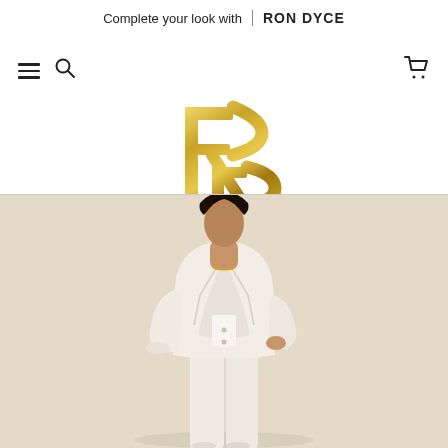Complete your look with | RON DYCE
[Figure (logo): RON DYCE brand logo — a stylized golden 'RD' monogram formed by geometric letter shapes with a gradient gold finish]
[Figure (photo): A woman wearing a cream/off-white tailored blazer suit with a black belt, posing against a warm beige background. The outfit is styled for a fashion look-book.]